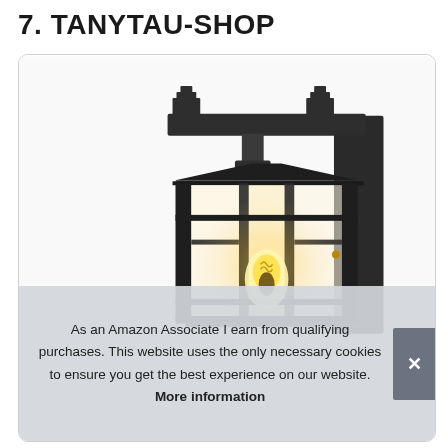7. TANYTAU-SHOP
[Figure (photo): Close-up photo of a black outdoor wall-mount lantern with glass panels and a visible Edison-style filament bulb inside, mounted on a wall bracket with Japanese craftsman-style architectural details.]
As an Amazon Associate I earn from qualifying purchases. This website uses the only necessary cookies to ensure you get the best experience on our website. More information